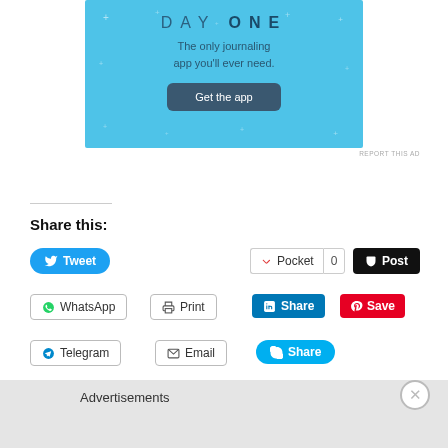[Figure (advertisement): Day One journaling app advertisement. Light blue background with sparkle dots. Text: 'DAY ONE - The only journaling app you'll ever need.' with a 'Get the app' button.]
REPORT THIS AD
Share this:
Tweet
Pocket 0
Post
WhatsApp
Print
Share
Save
Telegram
Email
Share
Like
Advertisements
REPORT THIS AD